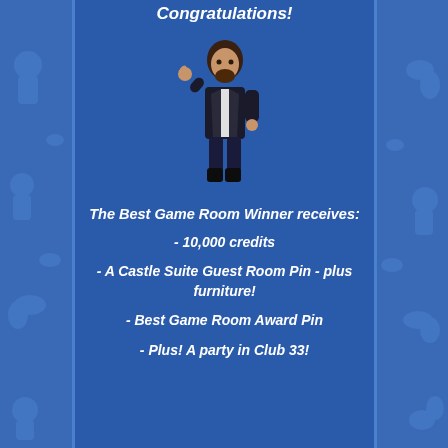Congratulations!
[Figure (illustration): Cartoon avatar character wearing dark jacket with arms out, standing pose]
The Best Game Room Winner receives:
- 10,000 credits
- A Castle Suite Guest Room Pin - plus furniture!
- Best Game Room Award Pin
- Plus! A party in Club 33!